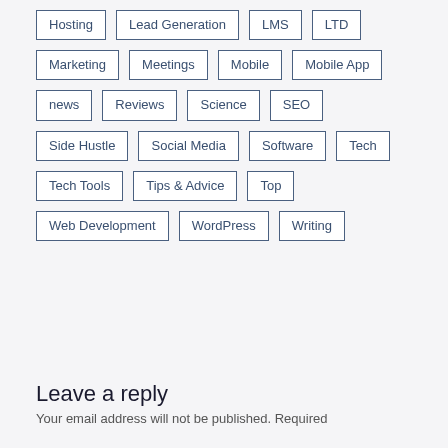Hosting
Lead Generation
LMS
LTD
Marketing
Meetings
Mobile
Mobile App
news
Reviews
Science
SEO
Side Hustle
Social Media
Software
Tech
Tech Tools
Tips & Advice
Top
Web Development
WordPress
Writing
Leave a reply
Your email address will not be published. Required